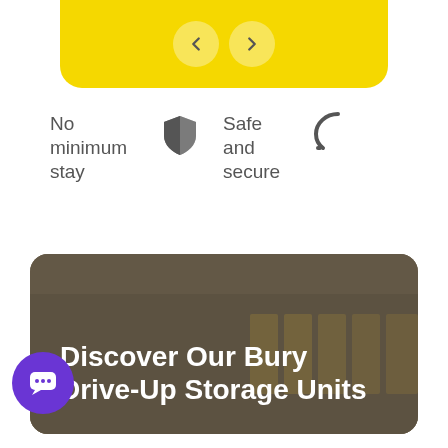[Figure (screenshot): Yellow banner with left and right navigation arrows (chevrons) on a rounded yellow background]
No minimum stay
[Figure (illustration): Shield icon with half-fill indicating safety/security]
Safe and secure
[Figure (illustration): Partial icon (headset or similar) cropped at right edge]
[Figure (photo): Photo of a storage facility drive-up units building with dark overlay]
Discover Our Bury Drive-Up Storage Units
[Figure (illustration): Purple circular chat/message button]